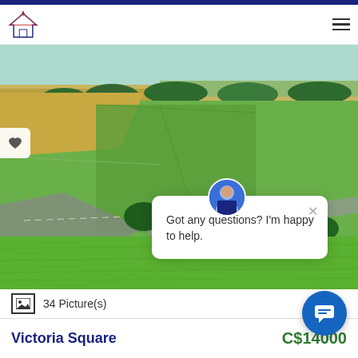Real estate website header with logo and navigation menu
[Figure (photo): Aerial drone photo of rural farmland with green fields, a road cutting through, trees, and open countryside landscape in summer]
Got any questions? I'm happy to help.
34 Picture(s)
Victoria Square
C$14000